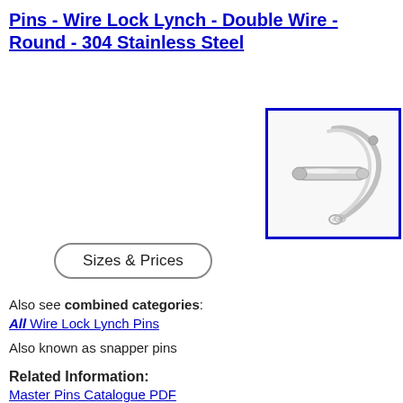Pins - Wire Lock Lynch - Double Wire - Round - 304 Stainless Steel
[Figure (photo): A wire lock lynch pin (also known as a snapper pin) made of 304 stainless steel, double wire round style, shown with its curved wire retainer and cylindrical pin body against a white background.]
Sizes & Prices
Also see combined categories:
All Wire Lock Lynch Pins
Also known as snapper pins
Related Information:
Master Pins Catalogue PDF